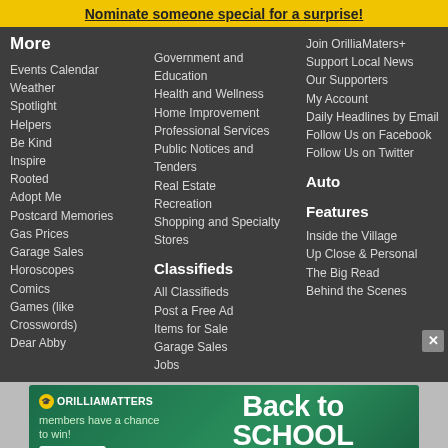Nominate someone special for a surprise!
More
Events Calendar
Weather
Spotlight
Helpers
Be Kind
Inspire
Rooted
Adopt Me
Postcard Memories
Gas Prices
Garage Sales
Horoscopes
Comics
Games (like Crosswords)
Dear Abby
Government and Education
Health and Wellness
Home Improvement
Professional Services
Public Notices and Tenders
Real Estate
Recreation
Shopping and Specialty Stores
Classifieds
All Classifieds
Post a Free Ad
Items for Sale
Garage Sales
Jobs
Join OrilliaMaters+
Support Local News
Our Supporters
My Account
Daily Headlines by Email
Follow Us on Facebook
Follow Us on Twitter
Auto
Features
Inside the Village
Up Close & Personal
The Big Read
Behind the Scenes
[Figure (infographic): OrilliaMATTERS Back to School shopping spree advertisement with Enter now button]